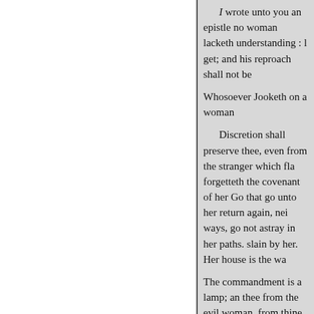I wrote unto you an epistle no woman lacketh understanding : get; and his reproach shall not be Whosoever Jooketh on a woman
Discretion shall preserve thee, even from the stranger which fla forgetteth the covenant of her Go that go unto her return again, nei ways, go not astray in her paths. slain by her. Her house is the wa
The commandment is a lamp; an thee from the evil woman, from thine heart. Her feet
go down to death; her steps take
He that loveth pleasure shall b bread.
Rejoice with the wife of thy you be ravished with a strange woma
Neither fornicators nor adulterer
« Anterior